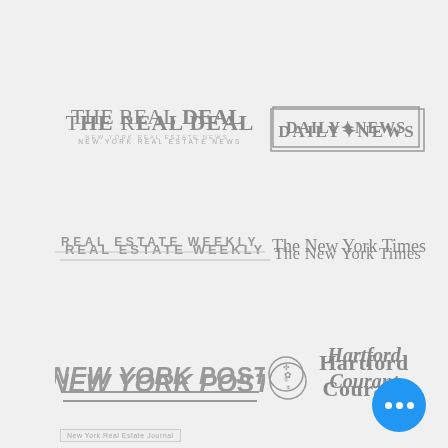[Figure (logo): The Real Deal - New York Real Estate News logo (gray)]
[Figure (logo): Daily News logo with border box (gray)]
[Figure (logo): Real Estate Weekly logo (gray, underlined text)]
[Figure (logo): The New York Times logo in blackletter serif (gray)]
[Figure (logo): New York Post logo in italic bold compressed font (gray)]
[Figure (logo): Hartford Courant logo with crest emblem (gray)]
[Figure (logo): 9fi5h logo in thin modern type (light gray)]
[Figure (logo): Curbed logo as building sign style (gray)]
New York Real Estate Journal
[Figure (other): Blue circular button with three white dots]